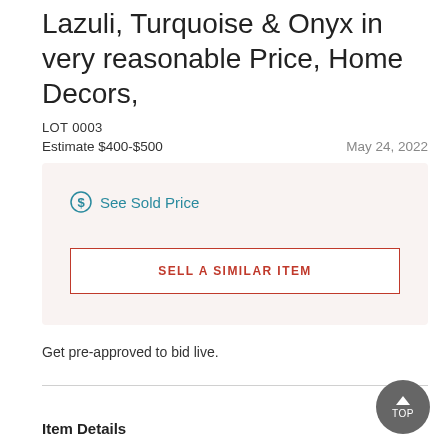Lazuli, Turquoise & Onyx in very reasonable Price, Home Decors,
LOT 0003
Estimate $400-$500    May 24, 2022
See Sold Price
SELL A SIMILAR ITEM
Get pre-approved to bid live.
Item Details